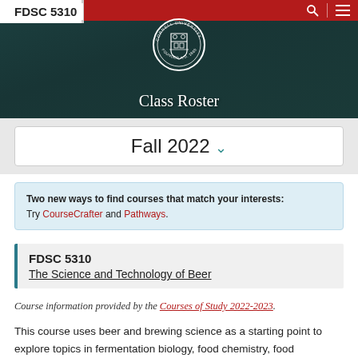FDSC 5310
Class Roster
Fall 2022
Two new ways to find courses that match your interests: Try CourseCrafter and Pathways.
FDSC 5310
The Science and Technology of Beer
Course information provided by the Courses of Study 2022-2023.
This course uses beer and brewing science as a starting point to explore topics in fermentation biology, food chemistry, food